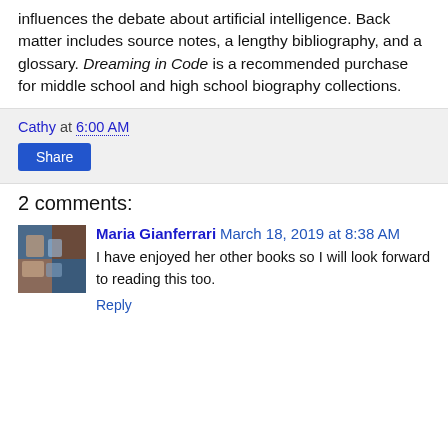influences the debate about artificial intelligence. Back matter includes source notes, a lengthy bibliography, and a glossary. Dreaming in Code is a recommended purchase for middle school and high school biography collections.
Cathy at 6:00 AM
Share
2 comments:
Maria Gianferrari March 18, 2019 at 8:38 AM
I have enjoyed her other books so I will look forward to reading this too.